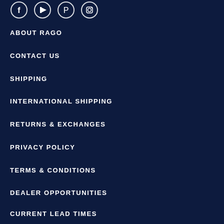[Figure (other): Social media icons: Facebook, YouTube, Pinterest, Instagram — white outlined circles on dark navy background]
ABOUT RAGO
CONTACT US
SHIPPING
INTERNATIONAL SHIPPING
RETURNS & EXCHANGES
PRIVACY POLICY
TERMS & CONDITIONS
DEALER OPPORTUNITIES
CURRENT LEAD TIMES